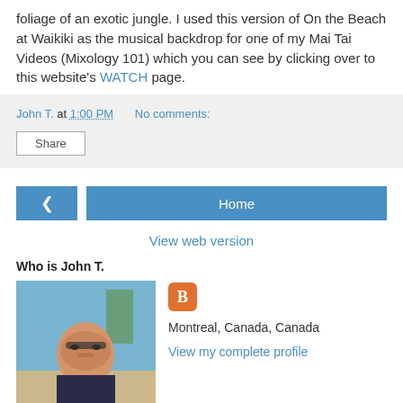foliage of an exotic jungle. I used this version of On the Beach at Waikiki as the musical backdrop for one of my Mai Tai Videos (Mixology 101) which you can see by clicking over to this website's WATCH page.
John T. at 1:00 PM   No comments:
Share
Home
View web version
Who is John T.
[Figure (photo): Photo of John T., a man wearing sunglasses and a dark t-shirt outdoors in a sunny location with palm trees in the background]
Montreal, Canada, Canada
View my complete profile
Powered by Blogger.